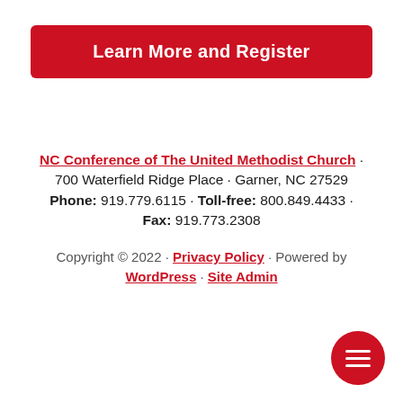Learn More and Register
NC Conference of The United Methodist Church · 700 Waterfield Ridge Place · Garner, NC 27529
Phone: 919.779.6115 · Toll-free: 800.849.4433 · Fax: 919.773.2308
Copyright © 2022 · Privacy Policy · Powered by WordPress · Site Admin